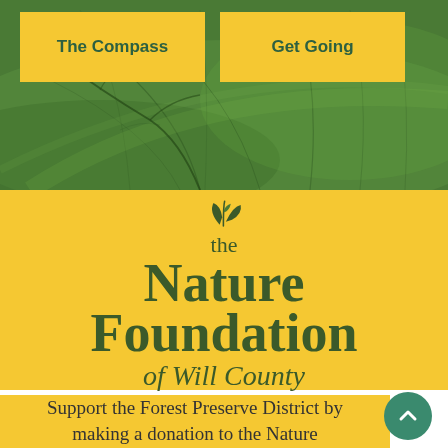[Figure (screenshot): Green leaf/nature textured background image occupying the top portion of the page]
The Compass
Get Going
[Figure (logo): The Nature Foundation of Will County logo with leaf/sprout icon and stylized text on yellow background]
Support the Forest Preserve District by making a donation to the Nature Foundation